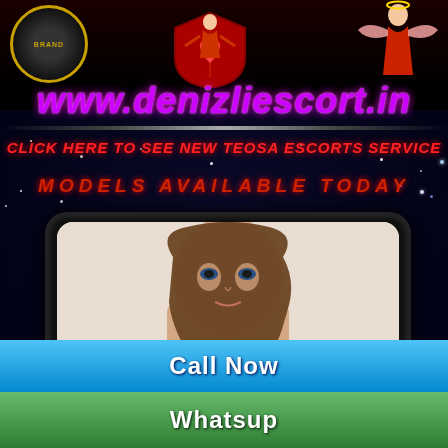[Figure (illustration): Advertisement banner with website logo circle, shield/heart figure, and angel figure at top on dark background]
www.denizliescort.in
CLICK HERE TO SEE NEW TEOSA ESCORTS SERVICE
MODELS AVAILABLE TODAY
[Figure (photo): Photo of a young woman with long brown hair wearing a denim jacket, posed against a light background. Watermark 'escort.in' overlaid diagonally.]
Call Now
Whatsup